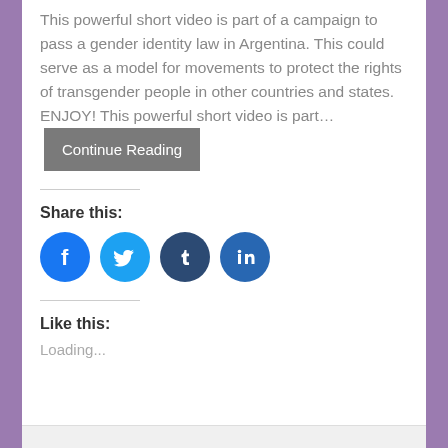This powerful short video is part of a campaign to pass a gender identity law in Argentina. This could serve as a model for movements to protect the rights of transgender people in other countries and states. ENJOY! This powerful short video is part… Continue Reading
Share this:
[Figure (infographic): Four social media share icons: Facebook (blue circle), Twitter (light blue circle), Tumblr (dark navy circle), LinkedIn (blue circle)]
Like this:
Loading...